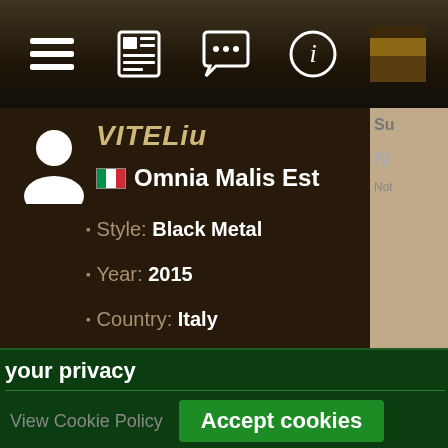[Figure (screenshot): Navigation bar with icons: list/hamburger menu, newspaper, chat bubble, info circle, and a thumbnail image]
VITELiu
Omnia Malis Est
Style: Black Metal
Year: 2015
Country: Italy
your privacy
ookies to save your site preferences and te traffic.
View Cookie Policy
Accept cookies